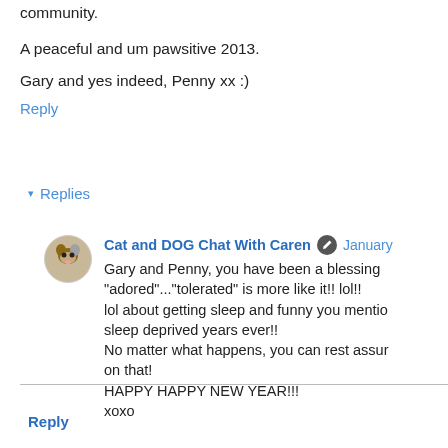community.
A peaceful and um pawsitive 2013.
Gary and yes indeed, Penny xx :)
Reply
▾ Replies
Cat and DOG Chat With Caren  January
Gary and Penny, you have been a blessing "adored"..."tolerated" is more like it!! lol!! lol about getting sleep and funny you mention sleep deprived years ever!! No matter what happens, you can rest assur on that! HAPPY HAPPY NEW YEAR!!! xoxo
Reply